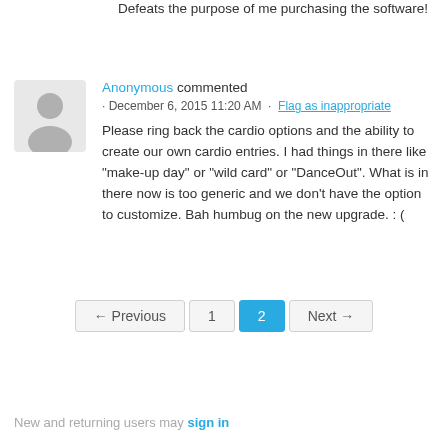Defeats the purpose of me purchasing the software!
Anonymous commented · December 6, 2015 11:20 AM · Flag as inappropriate
Please ring back the cardio options and the ability to create our own cardio entries. I had things in there like "make-up day" or "wild card" or "DanceOut". What is in there now is too generic and we don't have the option to customize. Bah humbug on the new upgrade. : (
← Previous  1  2  Next →
New and returning users may sign in